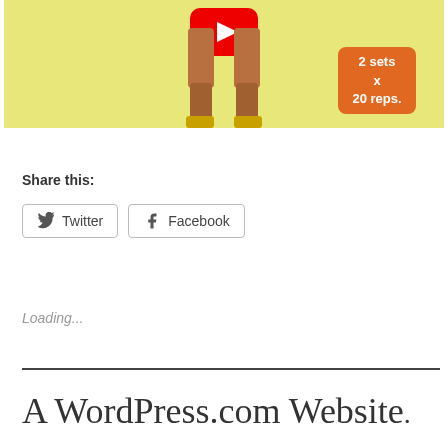[Figure (screenshot): YouTube video thumbnail showing a person's legs with yellow background and an orange badge reading '2 sets x 20 reps']
Share this:
Twitter
Facebook
Loading...
A WordPress.com Website.